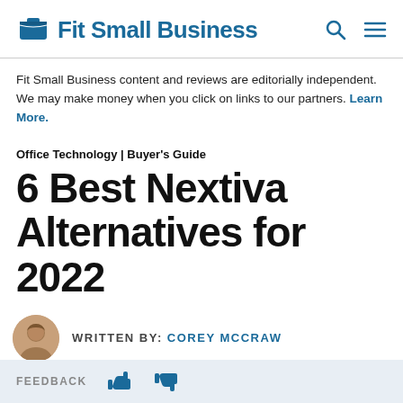Fit Small Business
Fit Small Business content and reviews are editorially independent. We may make money when you click on links to our partners. Learn More.
Office Technology | Buyer's Guide
6 Best Nextiva Alternatives for 2022
WRITTEN BY: Corey McCraw
FEEDBACK